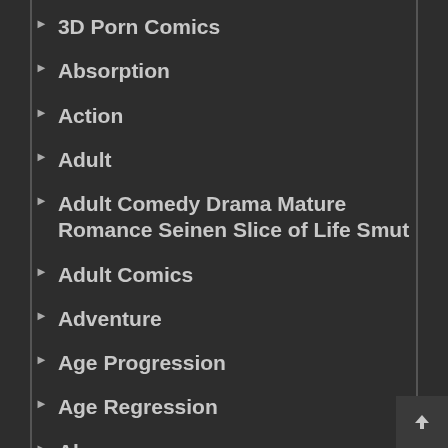3D Porn Comics
Absorption
Action
Adult
Adult Comedy Drama Mature Romance Seinen Slice of Life Smut
Adult Comics
Adventure
Age Progression
Age Regression
Ahegao
Alien
Alien Girl